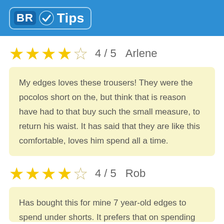BR Tips
★★★★☆  4 / 5  Arlene
My edges loves these trousers! They were the pocolos short on the, but think that is reason have had to that buy such the small measure, to return his waist. It has said that they are like this comfortable, loves him spend all a time.
★★★★☆  4 / 5  Rob
Has bought this for mine 7 year-old edges to spend under shorts. It prefers that on spending...